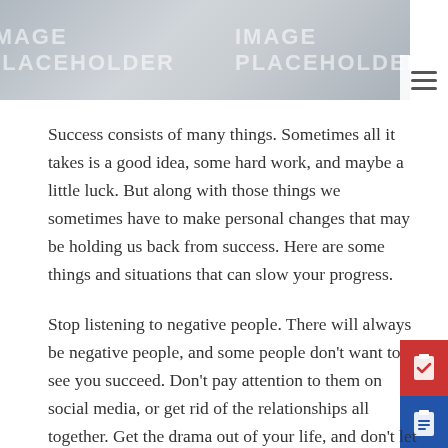[Figure (photo): Header image placeholder with watermark text 'IMAGE PLACEHOLDER', gray gradient background with hamburger menu icon at top right]
Success consists of many things. Sometimes all it takes is a good idea, some hard work, and maybe a little luck. But along with those things we sometimes have to make personal changes that may be holding us back from success. Here are some things and situations that can slow your progress.
Stop listening to negative people. There will always be negative people, and some people don't want to see you succeed. Don't pay attention to them on social media, or get rid of the relationships all together. Get the drama out of your life, and don't let anyone make you a part of their drama.
Along the same lines as getting rid of negative people is to associate more with positive people. Start building